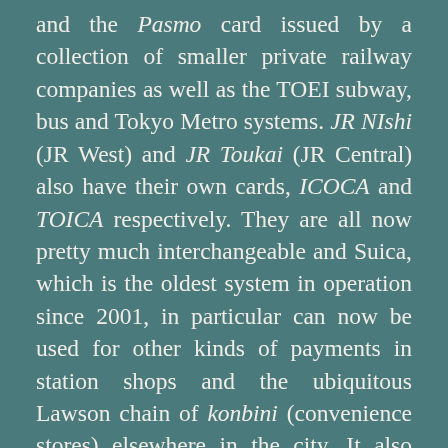and the Pasmo card issued by a collection of smaller private railway companies as well as the TOEI subway, bus and Tokyo Metro systems. JR NIshi (JR West) and JR Toukai (JR Central) also have their own cards, ICOCA and TOICA respectively. They are all now pretty much interchangeable and Suica, which is the oldest system in operation since 2001, in particular can now be used for other kinds of payments in station shops and the ubiquitous Lawson chain of konbini (convenience stores) elsewhere in the city. It also now has a keitai denwa (mobile phone) enabled version in which the card is virtually present as a piece of phone software.
Great! It's convenient, costs no more than